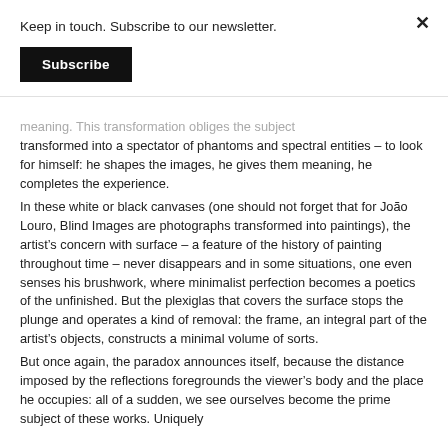Keep in touch. Subscribe to our newsletter.
Subscribe
meaning. This transformation obliges the subject transformed into a spectator of phantoms and spectral entities – to look for himself: he shapes the images, he gives them meaning, he completes the experience.
In these white or black canvases (one should not forget that for João Louro, Blind Images are photographs transformed into paintings), the artist's concern with surface – a feature of the history of painting throughout time – never disappears and in some situations, one even senses his brushwork, where minimalist perfection becomes a poetics of the unfinished. But the plexiglas that covers the surface stops the plunge and operates a kind of removal: the frame, an integral part of the artist's objects, constructs a minimal volume of sorts.
But once again, the paradox announces itself, because the distance imposed by the reflections foregrounds the viewer's body and the place he occupies: all of a sudden, we see ourselves become the prime subject of these works. Uniquely